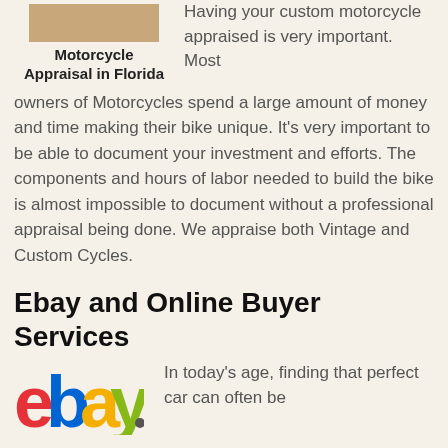[Figure (photo): Cropped motorcycle image at top]
Motorcycle Appraisal in Florida
Having your custom motorcycle appraised is very important. Most owners of Motorcycles spend a large amount of money and time making their bike unique. It's very important to be able to document your investment and efforts. The components and hours of labor needed to build the bike is almost impossible to document without a professional appraisal being done. We appraise both Vintage and Custom Cycles.
Ebay and Online Buyer Services
[Figure (logo): eBay logo]
In today's age, finding that perfect car can often be